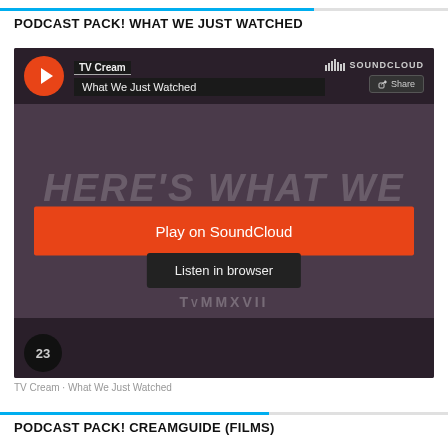PODCAST PACK! WHAT WE JUST WATCHED
[Figure (screenshot): SoundCloud embedded player for 'TV Cream - What We Just Watched' podcast. Shows play button, track info, SoundCloud branding, Share button, background artwork with italic text 'HERE'S WHAT WE WATCHED', orange 'Play on SoundCloud' overlay button, 'Listen in browser' button, episode number badge '23', and Privacy policy link.]
TV Cream · What We Just Watched
PODCAST PACK! CREAMGUIDE (FILMS)